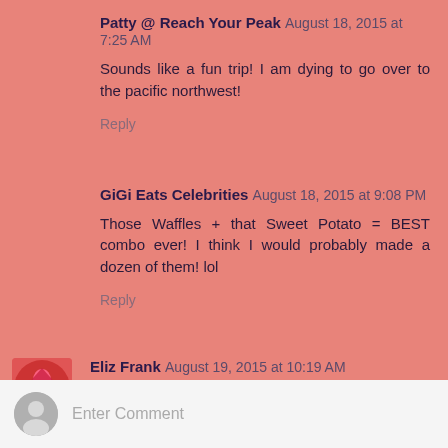Patty @ Reach Your Peak August 18, 2015 at 7:25 AM
Sounds like a fun trip! I am dying to go over to the pacific northwest!
Reply
GiGi Eats Celebrities August 18, 2015 at 9:08 PM
Those Waffles + that Sweet Potato = BEST combo ever! I think I would probably made a dozen of them! lol
Reply
[Figure (photo): Avatar image for Eliz Frank - red circular logo with figure]
Eliz Frank August 19, 2015 at 10:19 AM
You got a nicely planned out week ahead of you. Enjoy it an kudos on your efforts... Loving those tomatoes. ;-)
Reply
Enter Comment